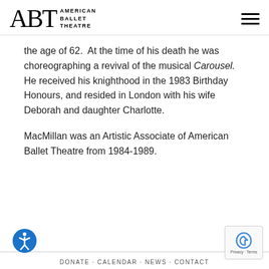ABT American Ballet Theatre
the age of 62.  At the time of his death he was choreographing a revival of the musical Carousel.  He received his knighthood in the 1983 Birthday Honours, and resided in London with his wife Deborah and daughter Charlotte.
MacMillan was an Artistic Associate of American Ballet Theatre from 1984-1989.
DONATE · CALENDAR · NEWS · CONTACT